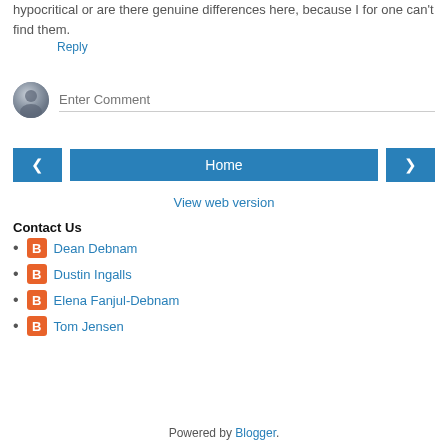hypocritical or are there genuine differences here, because I for one can't find them.
Reply
[Figure (other): Comment input area with avatar icon and 'Enter Comment' placeholder text]
[Figure (other): Navigation bar with left arrow button, Home button, and right arrow button]
View web version
Contact Us
Dean Debnam
Dustin Ingalls
Elena Fanjul-Debnam
Tom Jensen
Powered by Blogger.